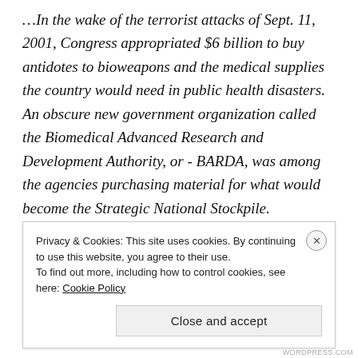…In the wake of the terrorist attacks of Sept. 11, 2001, Congress appropriated $6 billion to buy antidotes to bioweapons and the medical supplies the country would need in public health disasters. An obscure new government organization called the Biomedical Advanced Research and Development Authority, or - BARDA, was among the agencies purchasing material for what would become the Strategic National Stockpile.
…In Trump's first year, however, Bowen grew newly
Privacy & Cookies: This site uses cookies. By continuing to use this website, you agree to their use. To find out more, including how to control cookies, see here: Cookie Policy
Close and accept